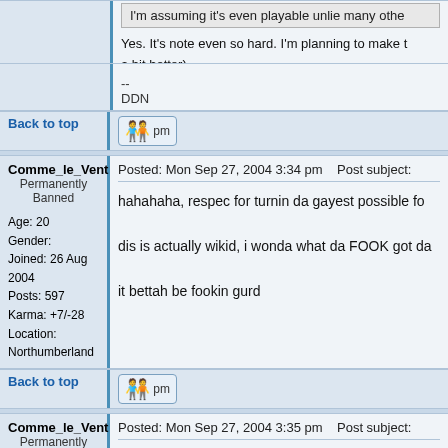I'm assuming it's even playable unlie many othe
Yes. It's note even so hard. I'm planning to make t a bit better)
--
DDN
Back to top
Comme_le_Vent
Permanently Banned
Age: 20
Gender:
Joined: 26 Aug 2004
Posts: 597
Karma: +7/-28
Location: Northumberland
Posted: Mon Sep 27, 2004 3:34 pm    Post subject:
hahahaha, respec for turnin da gayest possible fo
dis is actually wikid, i wonda what da FOOK got da
it bettah be fookin gurd
Back to top
Comme_le_Vent
Permanently Banned
Age: 20
Gender:
Joined: 26 Aug 2004
Posts: 597
Karma: +7/-28
Location: Northumberland
Posted: Mon Sep 27, 2004 3:35 pm    Post subject:
lso - i detected a finnish influence at da end - wher